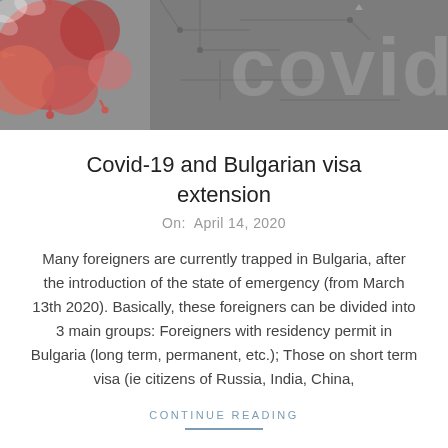[Figure (photo): Header banner image showing a COVID-19 themed graphic with coronavirus particles in red/pink tones on the left and a gray circuit-board style background with large white 'covid' text watermark on the right.]
Covid-19 and Bulgarian visa extension
On:  April 14, 2020
Many foreigners are currently trapped in Bulgaria, after the introduction of the state of emergency (from March 13th 2020). Basically, these foreigners can be divided into 3 main groups: Foreigners with residency permit in Bulgaria (long term, permanent, etc.); Those on short term visa (ie citizens of Russia, India, China,
CONTINUE READING